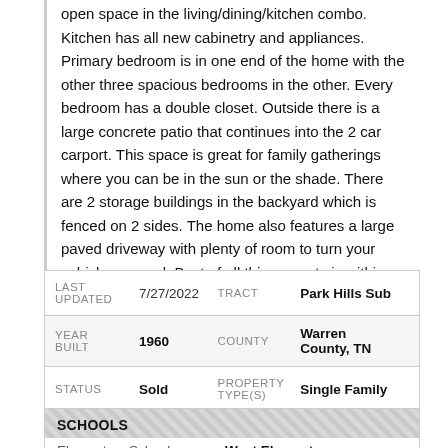open space in the living/dining/kitchen combo. Kitchen has all new cabinetry and appliances. Primary bedroom is in one end of the home with the other three spacious bedrooms in the other. Every bedroom has a double closet. Outside there is a large concrete patio that continues into the 2 car carport. This space is great for family gatherings where you can be in the sun or the shade. There are 2 storage buildings in the backyard which is fenced on 2 sides. The home also features a large paved driveway with plenty of room to turn your vehicles around. Best of all this property is within walking distance of McMinnville's Wal-Mart Supercenter.
| LAST UPDATED |  | TRACT |  |
| --- | --- | --- | --- |
| LAST UPDATED | 7/27/2022 | TRACT | Park Hills Sub |
| YEAR BUILT | 1960 | COUNTY | Warren County, TN |
| STATUS | Sold | PROPERTY TYPE(S) | Single Family |
SCHOOLS
|  |  |
| --- | --- |
| Elementary School | West Elementary |